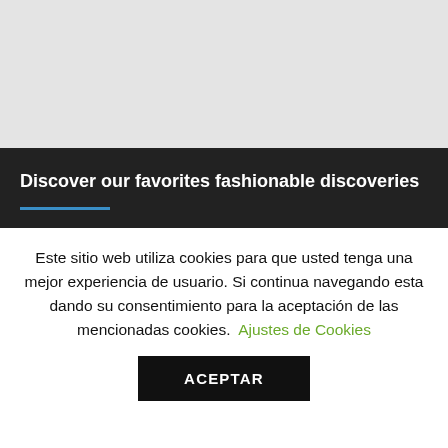[Figure (other): Gray placeholder image area at top of page]
Discover our favorites fashionable discoveries
Este sitio web utiliza cookies para que usted tenga una mejor experiencia de usuario. Si continua navegando esta dando su consentimiento para la aceptación de las mencionadas cookies. Ajustes de Cookies
ACEPTAR